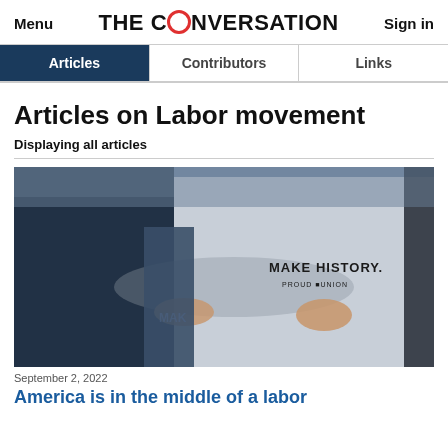Menu  THE CONVERSATION  Sign in
Articles | Contributors | Links
Articles on Labor movement
Displaying all articles
[Figure (photo): Two people with arms around each other, one wearing a white hoodie reading 'MAKE HISTORY. PROUD UNION' on the back, the other in a denim jacket.]
September 2, 2022
America is in the middle of a labor